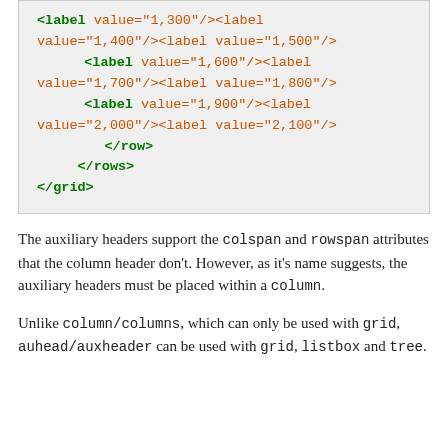[Figure (other): Code block showing XML snippet with label elements having values 1300-2100, closing row, rows, and grid tags]
The auxiliary headers support the colspan and rowspan attributes that the column header don't. However, as it's name suggests, the auxiliary headers must be placed within a column.
Unlike column/columns, which can only be used with grid, auhead/auxheader can be used with grid, listbox and tree.